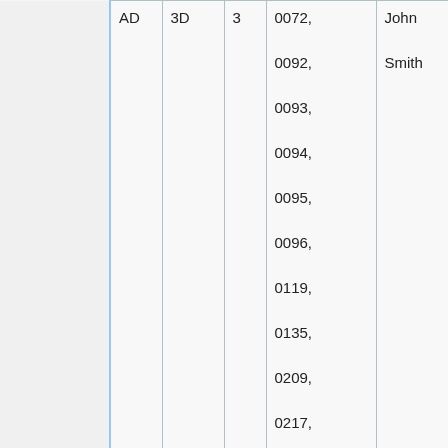|  | AD | 3D | 3 | Description | Name |
| --- | --- | --- | --- | --- | --- |
|  | AD | 3D | 3 | 0072, 0092, 0093, 0094, 0095, 0096, 0119, 0135, 0209, 0217, 0330, F104 are passed | John Smith |
|  |  |  |  | Bit noted to change when signals, 0010, 0036, |  |